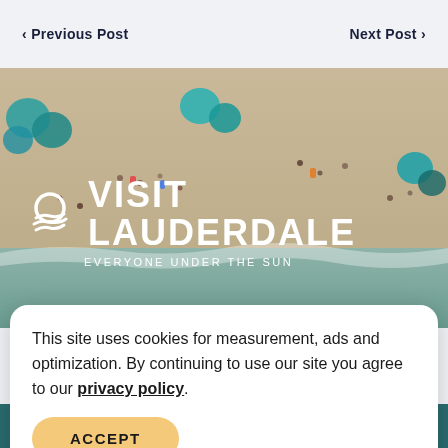< Previous Post    Next Post >
[Figure (photo): Aerial view of a sandy beach with colorful umbrellas and people, overlaid with Visit Lauderdale logo and navigation menu items E-Newsletter and About Us]
This site uses cookies for measurement, ads and optimization. By continuing to use our site you agree to our privacy policy.
ACCEPT